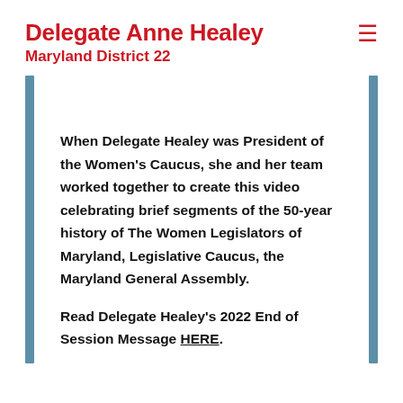Delegate Anne Healey
Maryland District 22
When Delegate Healey was President of the Women's Caucus, she and her team worked together to create this video celebrating brief segments of the 50-year history of The Women Legislators of Maryland, Legislative Caucus, the Maryland General Assembly.
Read Delegate Healey's 2022 End of Session Message HERE.